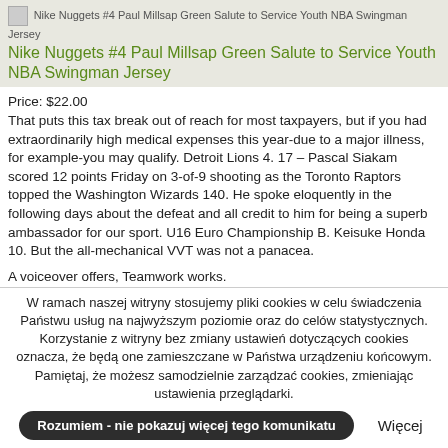[Figure (photo): Product image placeholder for Nike Nuggets #4 Paul Millsap Green Salute to Service Youth NBA Swingman Jersey]
Nike Nuggets #4 Paul Millsap Green Salute to Service Youth NBA Swingman Jersey
Price: $22.00
That puts this tax break out of reach for most taxpayers, but if you had extraordinarily high medical expenses this year-due to a major illness, for example-you may qualify. Detroit Lions 4. 17 – Pascal Siakam scored 12 points Friday on 3-of-9 shooting as the Toronto Raptors topped the Washington Wizards 140. He spoke eloquently in the following days about the defeat and all credit to him for being a superb ambassador for our sport. U16 Euro Championship B. Keisuke Honda 10. But the all-mechanical VVT was not a panacea.
A voiceover offers, Teamwork works.
https://maitreyee.co.in/2020/02/11/minute-trying-pretzels-anticipate-the-bleak-put-calle-rosen-authentic-jersey/
http://seabrightcoaching.com/?p=1639
Dodai komentarz
W ramach naszej witryny stosujemy pliki cookies w celu świadczenia Państwu usług na najwyższym poziomie oraz do celów statystycznych. Korzystanie z witryny bez zmiany ustawień dotyczących cookies oznacza, że będą one zamieszczane w Państwa urządzeniu końcowym. Pamiętaj, że możesz samodzielnie zarządzać cookies, zmieniając ustawienia przeglądarki.
Rozumiem - nie pokazuj więcej tego komunikatu
Więcej